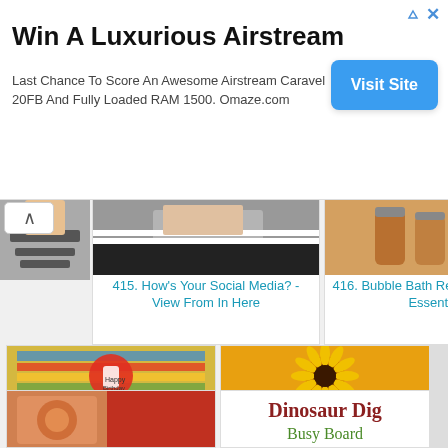[Figure (screenshot): Advertisement banner: Win A Luxurious Airstream with Visit Site button]
Win A Luxurious Airstream
Last Chance To Score An Awesome Airstream Caravel 20FB And Fully Loaded RAM 1500. Omaze.com
[Figure (screenshot): Screenshot of a content grid with blog post thumbnails and titles including: 415. How's Your Social Media? - View From In Here, 416. Bubble Bath Review: Dead Sea Essentials, 418. Paper Seedlings: WASHI BEAR BIRTHDAY, 419. Paper Seedlings: FOCUS FRIDAY: SUNNY, and two partial items at bottom]
415. How's Your Social Media? - View From In Here
416. Bubble Bath Review: Dead Sea Essentials
418. Paper Seedlings: WASHI BEAR BIRTHDAY
419. Paper Seedlings: FOCUS FRIDAY: SUNNY